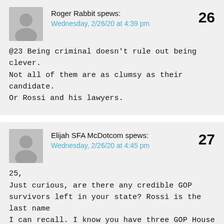Roger Rabbit spews:
Wednesday, 2/26/20 at 4:39 pm
26
@23 Being criminal doesn't rule out being clever. Not all of them are as clumsy as their candidate. Or Rossi and his lawyers.
Elijah SFA McDotcom spews:
Wednesday, 2/26/20 at 4:45 pm
27
25,
Just curious, are there any credible GOP survivors left in your state? Rossi is the last name I can recall. I know you have three GOP House members. But don't they survive by staying mostly